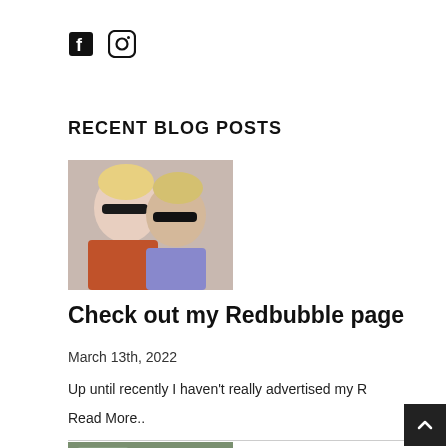[Figure (logo): Facebook and Instagram social media icons]
RECENT BLOG POSTS
[Figure (photo): Two women wearing sunglasses, a selfie photo]
Check out my Redbubble page
March 13th, 2022
Up until recently I haven't really advertised my R
Read More..
[Figure (photo): Interior room photo, partially visible]